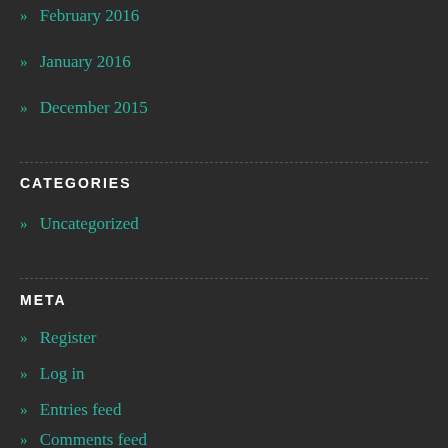» February 2016
» January 2016
» December 2015
CATEGORIES
» Uncategorized
META
» Register
» Log in
» Entries feed
» Comments feed